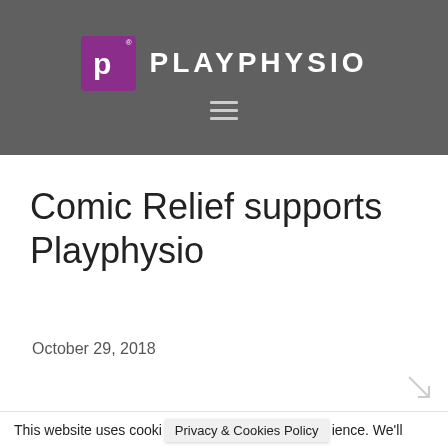[Figure (logo): Playphysio logo: purple square with stylized 'p' letter and registered trademark symbol, followed by 'PLAYPHYSIO' text in white capitals on dark grey header background]
[Figure (other): Hamburger menu icon (three horizontal grey lines) on dark grey navigation bar]
Comic Relief supports Playphysio
October 29, 2018
This website uses cookies to improve your experience. We'll